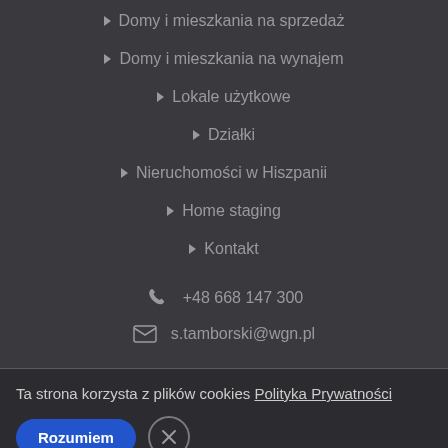Domy i mieszkania na sprzedaż
Domy i mieszkania na wynajem
Lokale użytkowe
Działki
Nieruchomości w Hiszpanii
Home staging
Kontakt
+48 668 147 300
s.tamborski@wgn.pl
Ta strona korzysta z plików cookies Polityka Prywatności
Rozumiem